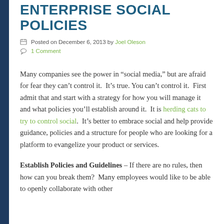ENTERPRISE SOCIAL POLICIES
Posted on December 6, 2013 by Joel Oleson
1 Comment
Many companies see the power in “social media,” but are afraid for fear they can’t control it.  It’s true. You can’t control it.  First admit that and start with a strategy for how you will manage it and what policies you’ll establish around it.  It is herding cats to try to control social.  It’s better to embrace social and help provide guidance, policies and a structure for people who are looking for a platform to evangelize your product or services.
Establish Policies and Guidelines – If there are no rules, then how can you break them?  Many employees would like to be able to openly collaborate with other